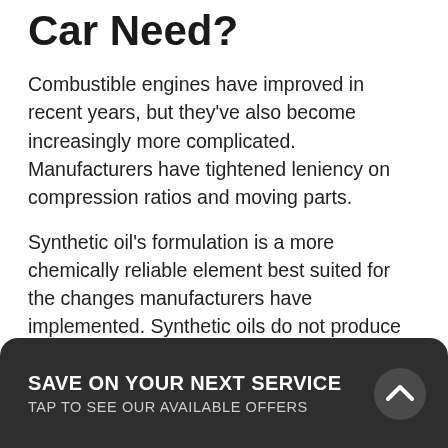Car Need?
Combustible engines have improved in recent years, but they’ve also become increasingly more complicated. Manufacturers have tightened leniency on compression ratios and moving parts.
Synthetic oil’s formulation is a more chemically reliable element best suited for the changes manufacturers have implemented. Synthetic oils do not produce sludge at the same rate as conventional oil. They also evaporate more slowly, don’t thicken in colder weather, and have an increased life cycle in comparison.
On older models, using conventional oil is suitable and, in some cases, recommended. Older engines can’t handle
SAVE ON YOUR NEXT SERVICE
TAP TO SEE OUR AVAILABLE OFFERS